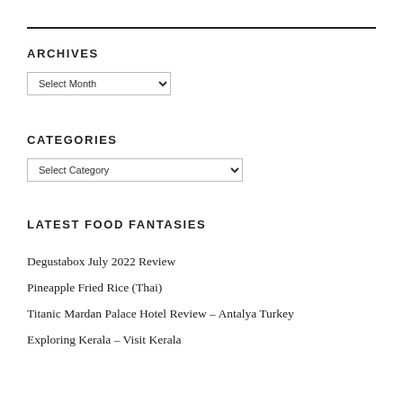ARCHIVES
Select Month (dropdown)
CATEGORIES
Select Category (dropdown)
LATEST FOOD FANTASIES
Degustabox July 2022 Review
Pineapple Fried Rice (Thai)
Titanic Mardan Palace Hotel Review – Antalya Turkey
Exploring Kerala – Visit Kerala